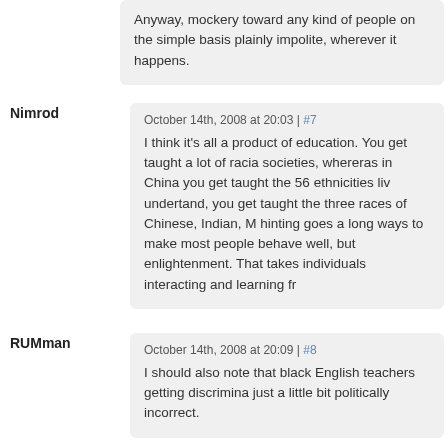Anyway, mockery toward any kind of people on the simple basis plainly impolite, wherever it happens.
Nimrod
October 14th, 2008 at 20:03 | #7
I think it's all a product of education. You get taught a lot of racial societies, whereras in China you get taught the 56 ethnicities liv undertand, you get taught the three races of Chinese, Indian, M hinting goes a long ways to make most people behave well, but enlightenment. That takes individuals interacting and learning fr
RUMman
October 14th, 2008 at 20:09 | #8
I should also note that black English teachers getting discrimina just a little bit politically incorrect.
RUMman
October 14th, 2008 at 20:15 | #9
Mind you, when Chinese appear in kung-fu flicks it's evidence o the Asian male, and so on. . .
October 14th, 2008 at 20:19 | #10
@RUMman #several posts,